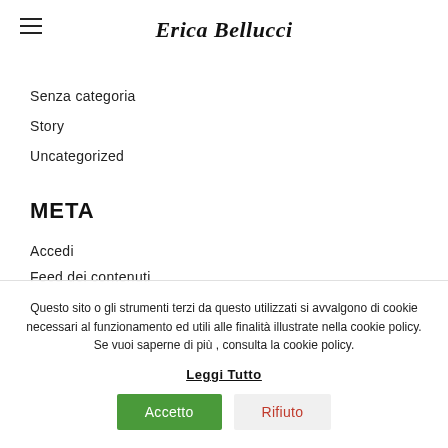Erica Bellucci
Senza categoria
Story
Uncategorized
META
Accedi
Feed dei contenuti
Questo sito o gli strumenti terzi da questo utilizzati si avvalgono di cookie necessari al funzionamento ed utili alle finalità illustrate nella cookie policy. Se vuoi saperne di più , consulta la cookie policy. Leggi Tutto
Accetto   Rifiuto